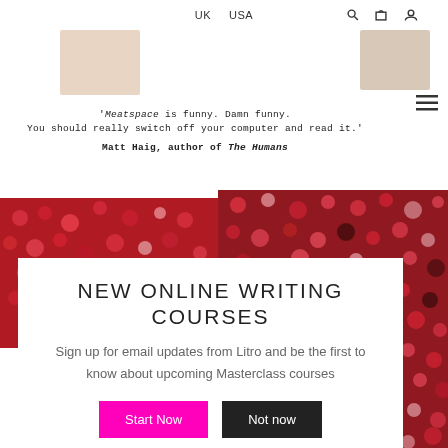UK  USA
[Figure (screenshot): Partial view of two book covers at the top of the page]
'Meatspace is funny. Damn funny. You should really switch off your computer and read it.' Matt Haig, author of The Humans
[Figure (photo): Red berry / pomegranate seed texture image split across left and right sides of page, partially behind modal]
NEW ONLINE WRITING COURSES
Sign up for email updates from Litro and be the first to know about upcoming Masterclass courses
Start Now  Not now
LITERATURE